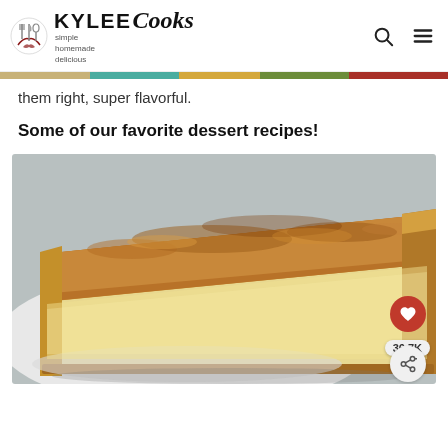KYLEE Cooks – simple homemade delicious
them right, super flavorful.
Some of our favorite dessert recipes!
[Figure (photo): A slice of egg custard or chess pie on a white plate, showing a golden-brown browned top crust with a creamy yellow custard interior, in a flaky pie crust. Social share buttons visible: heart icon, 36.7K count, share icon.]